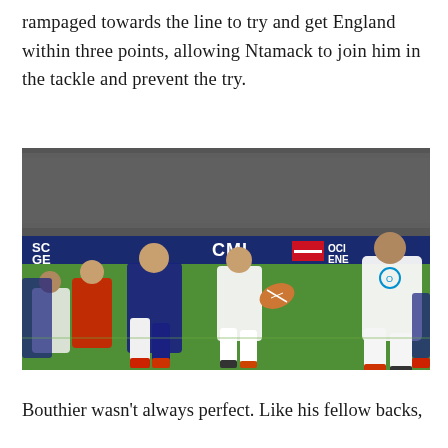rampaged towards the line to try and get England within three points, allowing Ntamack to join him in the tackle and prevent the try.
[Figure (photo): Rugby match action shot showing players from France (blue) and England (white) in a tackle/passing situation on a grass pitch, with a large crowd in the background and advertising boards visible including partial text 'CMI', 'OCI', 'ENE'. A red and white sponsor logo box is visible on the advertising board.]
Bouthier wasn't always perfect. Like his fellow backs,